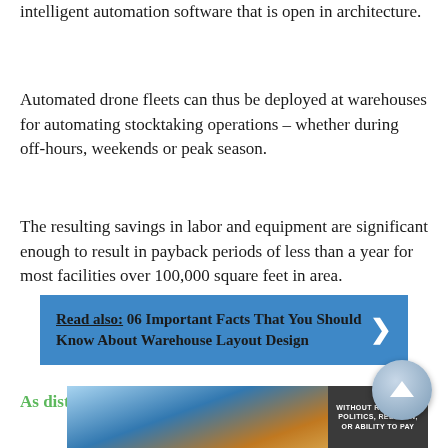intelligent automation software that is open in architecture.
Automated drone fleets can thus be deployed at warehouses for automating stocktaking operations – whether during off-hours, weekends or peak season.
The resulting savings in labor and equipment are significant enough to result in payback periods of less than a year for most facilities over 100,000 square feet in area.
Read also:  06 Important Facts That You Should Know About Warehouse Layout Design
As distribution centers are often built to scale...
[Figure (photo): Advertisement banner showing airplane cargo loading scene with text 'WITHOUT REGARD TO POLITICS, RELIGION, OR ABILITY TO PAY']